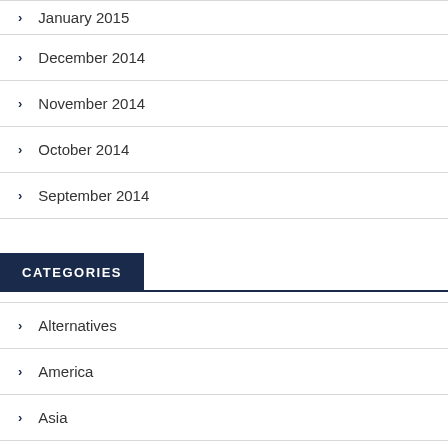January 2015
December 2014
November 2014
October 2014
September 2014
CATEGORIES
Alternatives
America
Asia
Companies